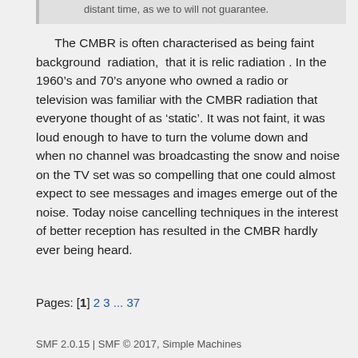distant time, as we to will not guarantee.
The CMBR is often characterised as being faint background radiation, that it is relic radiation . In the 1960’s and 70’s anyone who owned a radio or television was familiar with the CMBR radiation that everyone thought of as ‘static’. It was not faint, it was loud enough to have to turn the volume down and when no channel was broadcasting the snow and noise on the TV set was so compelling that one could almost expect to see messages and images emerge out of the noise. Today noise cancelling techniques in the interest of better reception has resulted in the CMBR hardly ever being heard.
Pages: [1] 2 3 ... 37
SMF 2.0.15 | SMF © 2017, Simple Machines